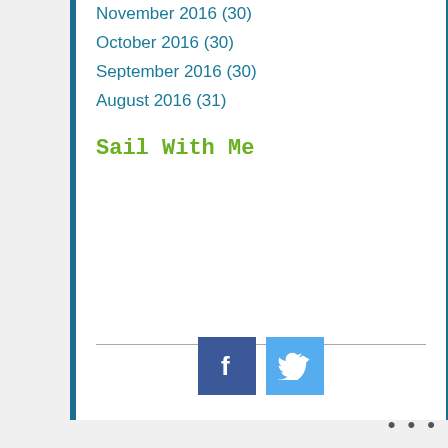November 2016 (30)
October 2016 (30)
September 2016 (30)
August 2016 (31)
Sail With Me
[Figure (logo): Facebook icon (blue square with white F)]
[Figure (logo): Twitter icon (light blue square with white bird)]